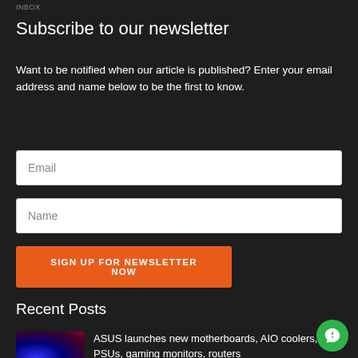INBOX
Subscribe to our newsletter
Want to be notified when our article is published? Enter your email address and name below to be the first to know.
Email
Name
SIGN UP FOR NEWSLETTER NOW
Recent Posts
ASUS launches new motherboards, AIO coolers, PSUs, gaming monitors, routers